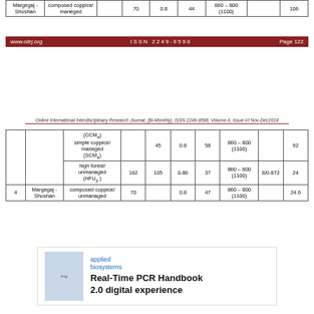|  |  |  |  |  |  |  |  |  |
| --- | --- | --- | --- | --- | --- | --- | --- | --- |
| Margegaj-Shoshan | composed coppice/ managed |  | 70 | 0.8 | 44 | 860-800 (1100) |  | 106 |
www.oiirj.org    ISSN 2249-9598    Page 122
Online International Interdisciplinary Research Journal, (Bi-Monthly), ISSN 2249-9598, Volume-II, Issue-VI Nov-Dec2018
|  |  |  |  |  |  |  |  |  |
| --- | --- | --- | --- | --- | --- | --- | --- | --- |
|  | (CCM4) simple coppice/ managed (SCM4) |  | 45 | 0.8 | 58 | 860-800 (1100) |  | 92 |
|  | high forest/ unmanaged (HFU2) | 162 | 105 | 0.86 | 37 | 860-800 (1100) | 8/0.872 | 24 |
| 4 | Margegaj-Shoshan | composed coppice/ unmanaged | 70 | 0.8 | 47 | 860-800 (1100) |  | 24.6 |